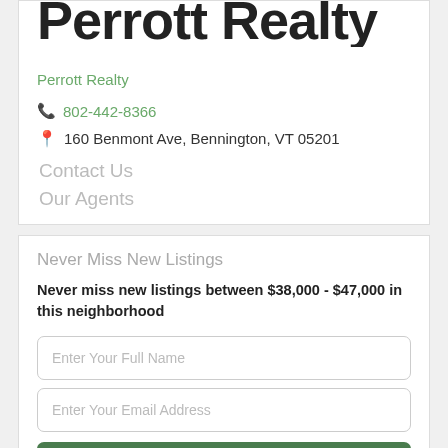Perrott Realty
Perrott Realty
802-442-8366
160 Benmont Ave, Bennington, VT 05201
Contact Us
Our Agents
Never Miss New Listings
Never miss new listings between $38,000 - $47,000 in this neighborhood